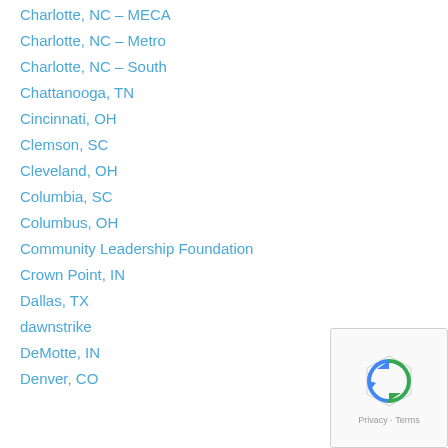Charlotte, NC – MECA
Charlotte, NC – Metro
Charlotte, NC – South
Chattanooga, TN
Cincinnati, OH
Clemson, SC
Cleveland, OH
Columbia, SC
Columbus, OH
Community Leadership Foundation
Crown Point, IN
Dallas, TX
dawnstrike
DeMotte, IN
Denver, CO